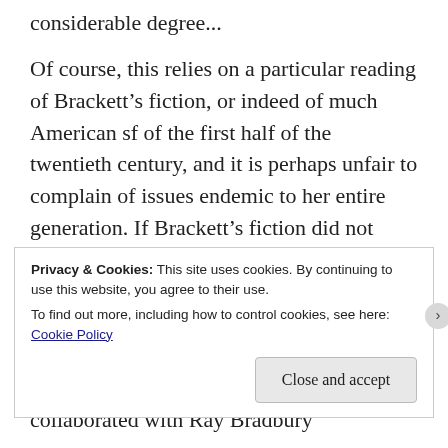considerable degree...
Of course, this relies on a particular reading of Brackett's fiction, or indeed of much American sf of the first half of the twentieth century, and it is perhaps unfair to complain of issues endemic to her entire generation. If Brackett's fiction did not overcome those issues, it at least made them a mostly unobjectionable element of her stories. Her tales of Mars and its dying races are good stories, put together with enviable skill and economy. She even collaborated with Ray Bradbury
Privacy & Cookies: This site uses cookies. By continuing to use this website, you agree to their use.
To find out more, including how to control cookies, see here:
Cookie Policy
Close and accept